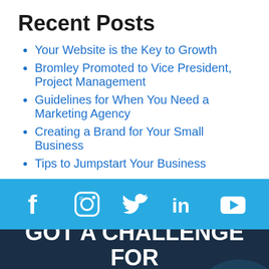Recent Posts
Your Website is the Key to Growth
Bromley Promoted to Vice President, Project Management
Guidelines for When You Need a Marketing Agency
Creating a Brand for Your Small Business
Tips to Jumpstart Your Business
[Figure (infographic): Social media icons bar (Facebook, Instagram, Twitter, LinkedIn, YouTube) on a light blue background]
GOT A CHALLENGE FOR US?
LET'S WORK TOGETHER